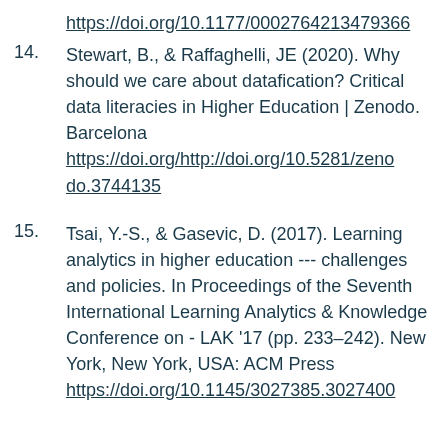https://doi.org/10.1177/0002764213479366
14. Stewart, B., & Raffaghelli, JE (2020). Why should we care about datafication? Critical data literacies in Higher Education | Zenodo. Barcelona https://doi.org/http://doi.org/10.5281/zenodo.3744135
15. Tsai, Y.-S., & Gasevic, D. (2017). Learning analytics in higher education --- challenges and policies. In Proceedings of the Seventh International Learning Analytics & Knowledge Conference on - LAK '17 (pp. 233–242). New York, New York, USA: ACM Press https://doi.org/10.1145/3027385.3027400